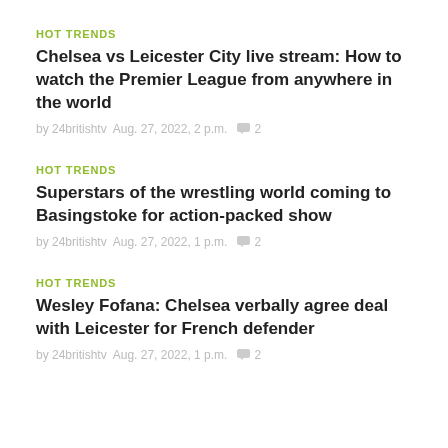HOT TRENDS
Chelsea vs Leicester City live stream: How to watch the Premier League from anywhere in the world
by 24britishtv  Aug. 27, 2022, 2 p.m.  💬 2
HOT TRENDS
Superstars of the wrestling world coming to Basingstoke for action-packed show
by 24britishtv  Aug. 27, 2022, 1 p.m.  💬 2
HOT TRENDS
Wesley Fofana: Chelsea verbally agree deal with Leicester for French defender
by 24britishtv  Aug. 27, 2022, 1 p.m.  💬 2